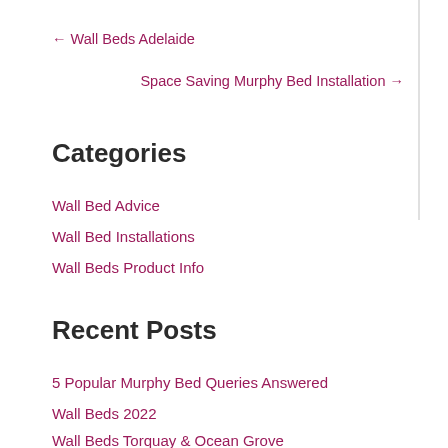← Wall Beds Adelaide
Space Saving Murphy Bed Installation →
Categories
Wall Bed Advice
Wall Bed Installations
Wall Beds Product Info
Recent Posts
5 Popular Murphy Bed Queries Answered
Wall Beds 2022
Wall Beds Torquay & Ocean Grove